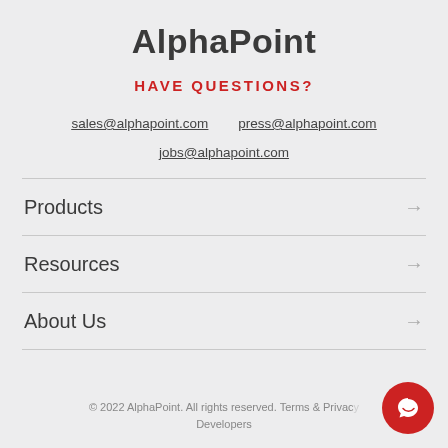AlphaPoint
HAVE QUESTIONS?
sales@alphapoint.com    press@alphapoint.com
jobs@alphapoint.com
Products →
Resources →
About Us →
© 2022 AlphaPoint. All rights reserved. Terms & Privacy    Developers